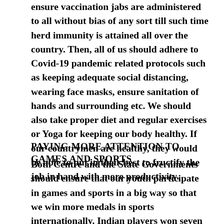ensure vaccination jabs are administered to all without bias of any sort till such time herd immunity is attained all over the country. Then, all of us should adhere to Covid-19 pandemic related protocols such as keeping adequate social distancing, wearing face masks, ensure sanitation of hands and surrounding etc. We should also take proper diet and regular exercises or Yoga for keeping our body healthy. If our countrymen are healthy, they would be able to put in their best to fructify the job in hand with more productivity.
PAYING MORE ATTENTION TO GAMES AND SPORTS
Both Centre and the State Governments should ensure that our youth participate in games and sports in a big way so that we win more medals in sports internationally. Indian players won seven medals including one gold medal in javelin throw